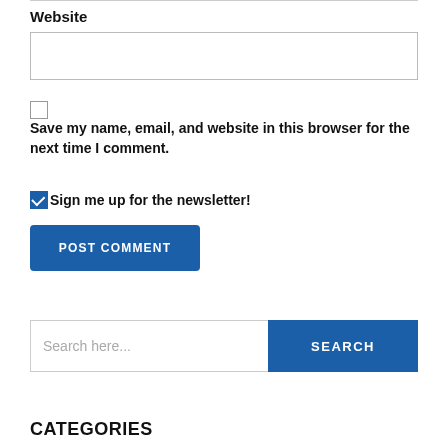Website
[Figure (screenshot): Website text input field (empty)]
Save my name, email, and website in this browser for the next time I comment.
Sign me up for the newsletter!
POST COMMENT
[Figure (screenshot): Search bar with text input 'Search here...' and a blue SEARCH button]
CATEGORIES